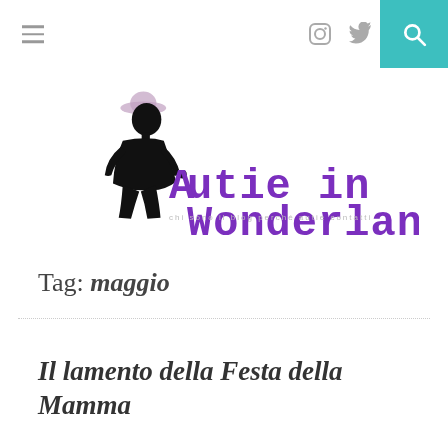≡ [instagram] [twitter] [search]
[Figure (logo): Autie in Wonderland blog logo: silhouette of Alice-like girl with hat, text 'Autie in Wonderland' in purple typewriter font, with navigation links below]
Tag: maggio
Il lamento della Festa della Mamma